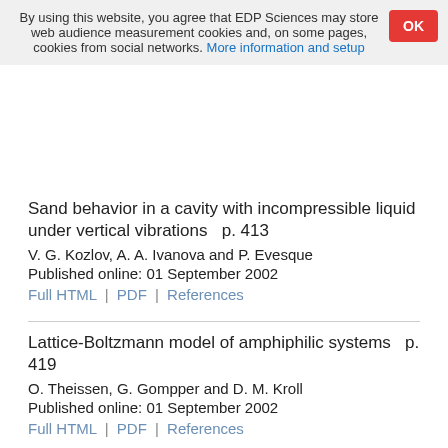By using this website, you agree that EDP Sciences may store web audience measurement cookies and, on some pages, cookies from social networks. More information and setup
Sand behavior in a cavity with incompressible liquid under vertical vibrations   p. 413
V. G. Kozlov, A. A. Ivanova and P. Evesque
Published online: 01 September 2002
Full HTML | PDF | References
Lattice-Boltzmann model of amphiphilic systems   p. 419
O. Theissen, G. Gompper and D. M. Kroll
Published online: 01 September 2002
Full HTML | PDF | References
- Condensed matter: structure, thermal and mechanical properties